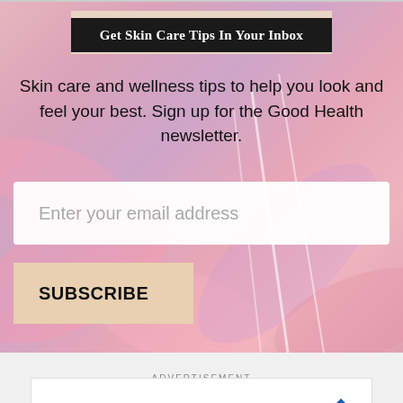Get Skin Care Tips In Your Inbox
Skin care and wellness tips to help you look and feel your best. Sign up for the Good Health newsletter.
Enter your email address
SUBSCRIBE
ADVERTISEMENT
[Figure (infographic): Advertisement banner for Havertys Furniture with text: Save Up To $1000, Havertys Furniture]